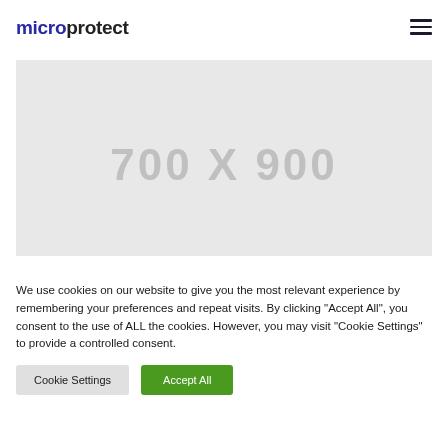microprotect
[Figure (other): Placeholder image area showing dimensions 700 X 900 in gray]
We use cookies on our website to give you the most relevant experience by remembering your preferences and repeat visits. By clicking "Accept All", you consent to the use of ALL the cookies. However, you may visit "Cookie Settings" to provide a controlled consent.
Cookie Settings | Accept All